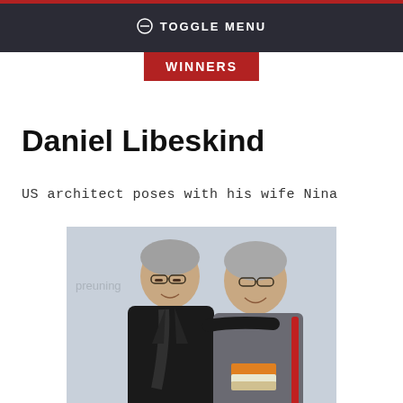TOGGLE MENU
WINNERS
Daniel Libeskind
US architect poses with his wife Nina
[Figure (photo): Daniel Libeskind and his wife Nina posing together at an event, in front of a backdrop with partial text 'preuning'. Daniel is on the left wearing a dark coat and scarf, Nina is on the right wearing glasses and a grey coat, holding some books.]